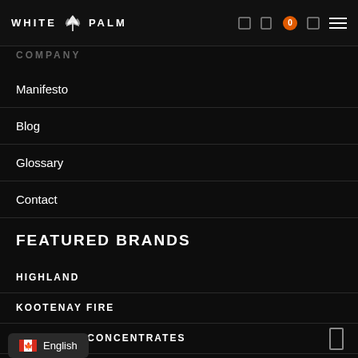WHITE PALM
Manifesto
Blog
Glossary
Contact
FEATURED BRANDS
HIGHLAND
KOOTENAY FIRE
GODS OWN CONCENTRATES
SWE…
English